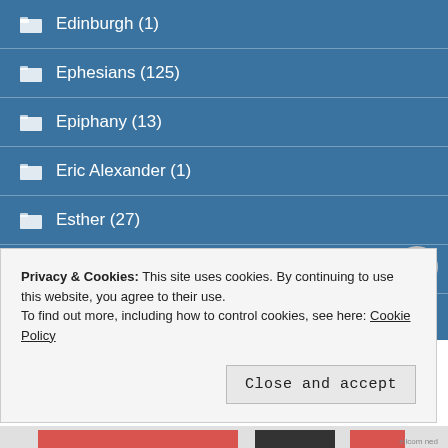Edinburgh (1)
Ephesians (125)
Epiphany (13)
Eric Alexander (1)
Esther (27)
Eternal Life (5)
Evangel (2)
Privacy & Cookies: This site uses cookies. By continuing to use this website, you agree to their use.
To find out more, including how to control cookies, see here: Cookie Policy
Close and accept